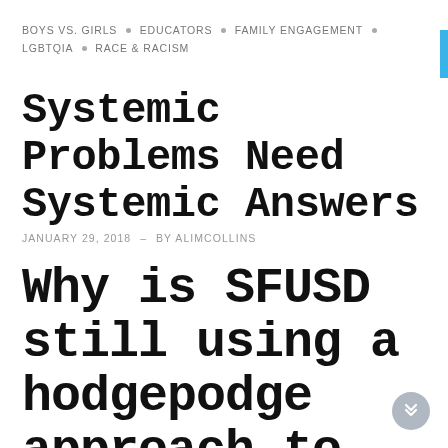BOYS VS. GIRLS · EDUCATORS · FAMILY ENGAGEMENT · LGBTQIA · RACE & RACISM
Systemic Problems Need Systemic Answers
JANUARY 29, 2018 – BY ALIMCOLLINS
Why is SFUSD still using a hodgepodge approach to addressing systemic bias in our schools?